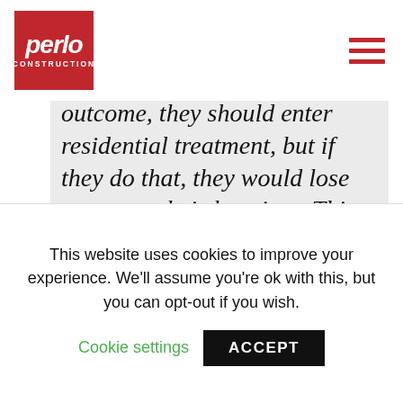perlo CONSTRUCTION
outcome, they should enter residential treatment, but if they do that, they would lose access to their housing.  This means that they have to choose between their best treatment option and maintaining housing. If they enter residential treatment, they likely lose their children and their housing, as well. So we're asking
This website uses cookies to improve your experience. We'll assume you're ok with this, but you can opt-out if you wish.
Cookie settings   ACCEPT